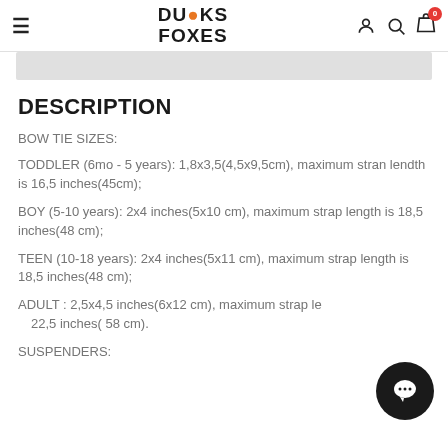DUCKS & FOXES
DESCRIPTION
BOW TIE SIZES:
TODDLER (6mo - 5 years): 1,8x3,5(4,5x9,5cm), maximum strap length is 16,5 inches(45cm);
BOY (5-10 years): 2x4 inches(5x10 cm), maximum strap length is 18,5 inches(48 cm);
TEEN (10-18 years): 2x4 inches(5x11 cm), maximum strap length is 18,5 inches(48 cm);
ADULT : 2,5x4,5 inches(6x12 cm), maximum strap length is 22,5 inches( 58 cm).
SUSPENDERS: